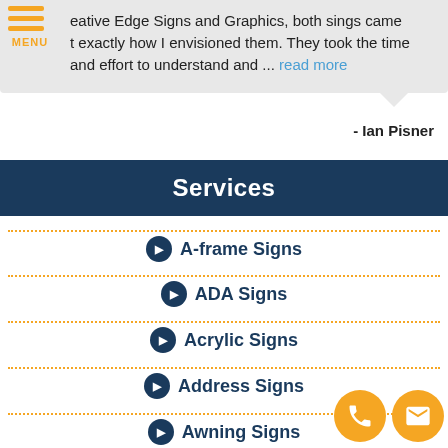...reative Edge Signs and Graphics, both sings came t exactly how I envisioned them. They took the time and effort to understand and ... read more
- Ian Pisner
Services
A-frame Signs
ADA Signs
Acrylic Signs
Address Signs
Awning Signs